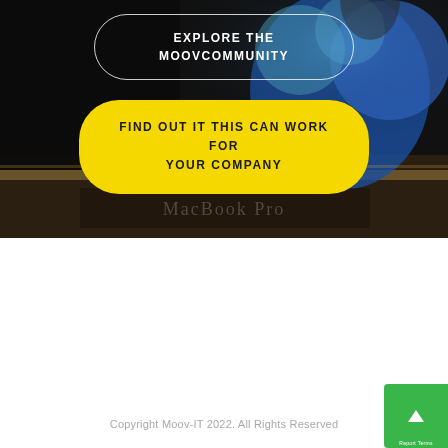[Figure (photo): Dark background photo showing people at an event with a MacBook Pro visible in the lower portion. Blue clothing and blurred figures in background.]
EXPLORE THE
MOOVCOMMUNITY
FIND OUT IT THIS CAN WORK FOR YOUR COMPANY
Copyright Moov-IT 2022. All Rights Reserved